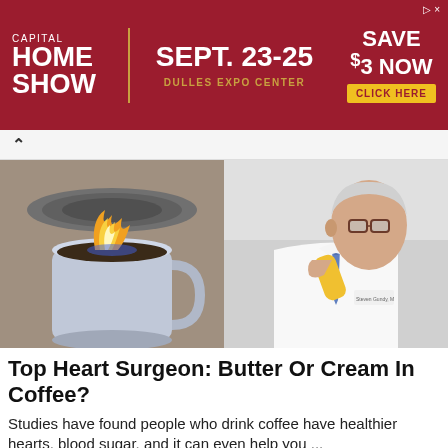[Figure (other): Advertisement banner for Capital Home Show, Sept. 23-25, Dulles Expo Center. Red background with white text. Right side shows 'SAVE $3 NOW' and yellow 'CLICK HERE' button.]
[Figure (photo): Left half: coffee mug with flames inside on a stovetop. Right half: older male doctor in white lab coat holding a yellow supplement or food item near his face in a clinical setting.]
Top Heart Surgeon: Butter Or Cream In Coffee?
Studies have found people who drink coffee have healthier hearts, blood sugar, and it can even help you ...
Sundry MD | Sponsored